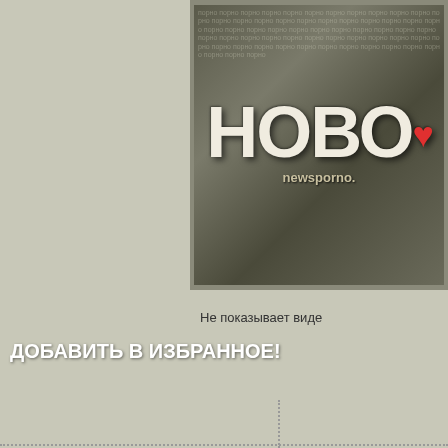[Figure (logo): Newsporno website banner with Cyrillic letters НОВО in large 3D white text on newspaper background, with red lip mark and 'newsporno.' text below]
Не показывает виде
ДОБАВИТЬ В ИЗБРАННОЕ!
15:00
AnalDi
28:16
Spunk Gobbler 2 - Street blowing cock
Pissing Lesbians Amanda Estela And Je